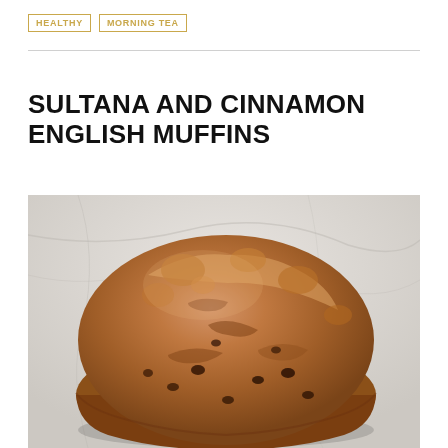HEALTHY | MORNING TEA
SULTANA AND CINNAMON ENGLISH MUFFINS
[Figure (photo): Close-up photo of a rustic sultana and cinnamon English muffin on a white marble surface, showing golden-brown crust with visible raisins/sultanas embedded in the dough]